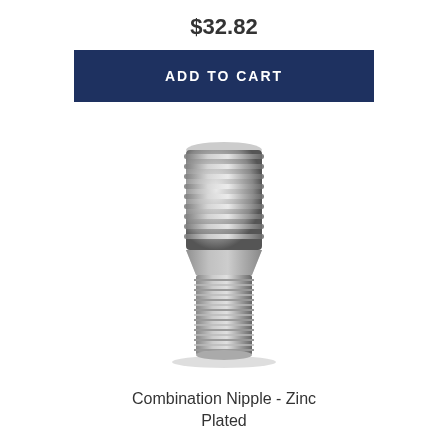$32.82
ADD TO CART
[Figure (photo): Combination Nipple - Zinc Plated fitting, a metallic cylindrical pipe fitting with ribbed hose barb top and threaded bottom end, shown in silver/zinc plated finish]
Combination Nipple - Zinc Plated